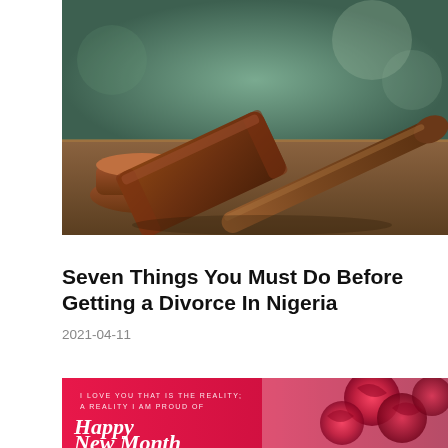[Figure (photo): Close-up photo of a wooden judge's gavel resting on a wooden surface in a courtroom setting]
Seven Things You Must Do Before Getting a Divorce In Nigeria
2021-04-11
[Figure (photo): Pink/red background with red roses and text reading 'I LOVE YOU. THAT IS THE REALITY; A REALITY I AM PROUD OF' and 'Happy New Month']